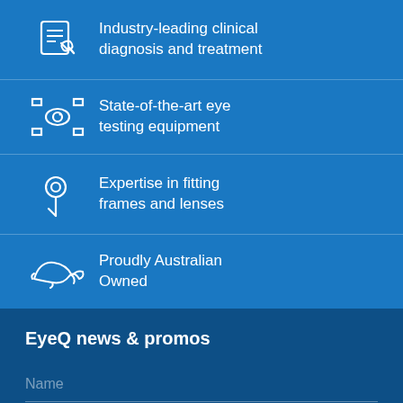Industry-leading clinical diagnosis and treatment
State-of-the-art eye testing equipment
Expertise in fitting frames and lenses
Proudly Australian Owned
EyeQ news & promos
Name
Email